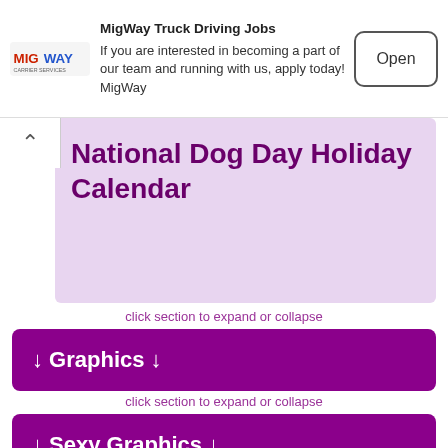MigWay Truck Driving Jobs — If you are interested in becoming a part of our team and running with us, apply today! MigWay — Open
National Dog Day Holiday Calendar
click section to expand or collapse
↓ Graphics ↓
click section to expand or collapse
↓ Sexy Graphics ↓
click section to expand or collapse
↓ Holiday Graphics ↓
click section to expand or collapse
↓ Spanish Graphics ↓
click section to expand or collapse